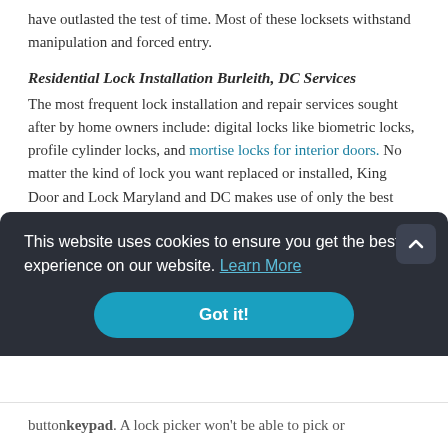have outlasted the test of time. Most of these locksets withstand manipulation and forced entry.
Residential Lock Installation Burleith, DC Services
The most frequent lock installation and repair services sought after by home owners include: digital locks like biometric locks, profile cylinder locks, and mortise locks for interior doors. No matter the kind of lock you want replaced or installed, King Door and Lock Maryland and DC makes use of only the best level of quality lock brands and locksets for your home.
[Figure (screenshot): Cookie consent banner overlay with dark background. Text reads: 'This website uses cookies to ensure you get the best experience on our website. Learn More' with a teal 'Got it!' button and a scroll-to-top arrow button in the top right.]
button keypad. A lock picker won't be able to pick or